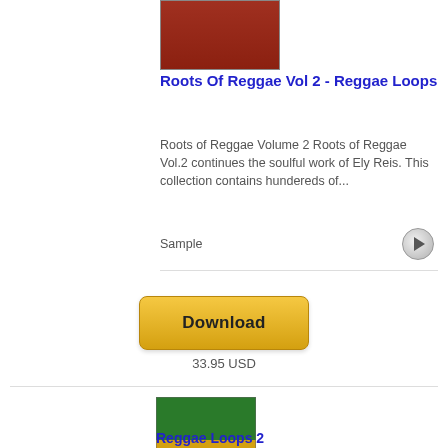[Figure (illustration): Album cover top portion - brownish-red solid color rectangle representing Roots of Reggae Vol 2 album art]
Roots Of Reggae Vol 2 - Reggae Loops
Roots of Reggae Volume 2 Roots of Reggae Vol.2 continues the soulful work of Ely Reis. This collection contains hundereds of...
Sample
Download
33.95 USD
[Figure (illustration): Album cover for Reggae Loops 2 - shows green, yellow, and red horizontal bands (Rastafarian colors) with text 'Roots of Reggae Volume 2' and 'Inner Rhythm Studios']
Reggae Loops 2